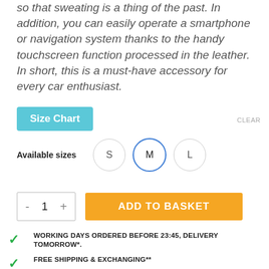so that sweating is a thing of the past. In addition, you can easily operate a smartphone or navigation system thanks to the handy touchscreen function processed in the leather. In short, this is a must-have accessory for every car enthusiast.
Size Chart
CLEAR
Available sizes
S M L
- 1 + ADD TO BASKET
WORKING DAYS ORDERED BEFORE 23:45, DELIVERY TOMORROW*.
FREE SHIPPING & EXCHANGING**
FRICKIN IS COMPLETELY CO2 NEUTRAL!